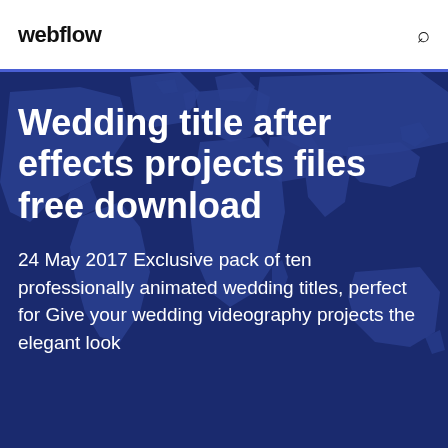webflow
[Figure (illustration): World map silhouette in dark blue tones on a navy background, used as hero background image]
Wedding title after effects projects files free download
24 May 2017 Exclusive pack of ten professionally animated wedding titles, perfect for Give your wedding videography projects the elegant look